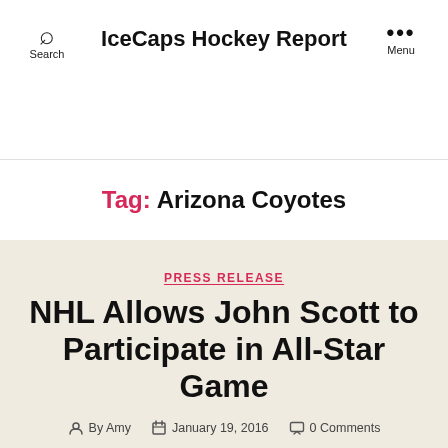IceCaps Hockey Report
Tag: Arizona Coyotes
PRESS RELEASE
NHL Allows John Scott to Participate in All-Star Game
By Amy · January 19, 2016 · 0 Comments